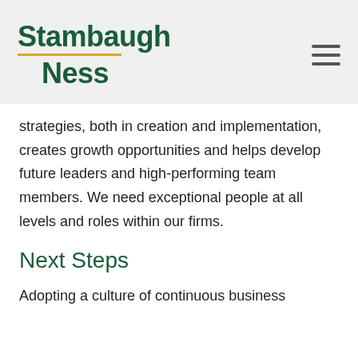Stambaugh Ness
strategies, both in creation and implementation, creates growth opportunities and helps develop future leaders and high-performing team members. We need exceptional people at all levels and roles within our firms.
Next Steps
Adopting a culture of continuous business